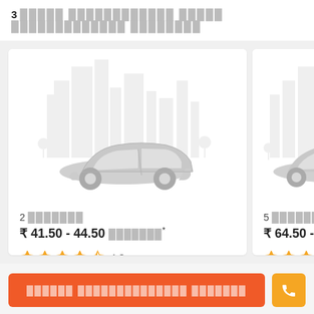3 [Tamil text] [Tamil text] [Tamil text]
[Figure (illustration): Car illustration with city skyline background (grey tones) for the first card]
2 [Tamil text]
₹ 41.50 - 44.50 [Tamil text]*
★★★★☆ 4.8
[Figure (illustration): Car illustration with city skyline background (grey tones) for the second card]
5 [Tamil text]
₹ 64.50 - 74.50 [Tamil text]
★★★★☆
[Tamil text] [Tamil text] [Tamil text]